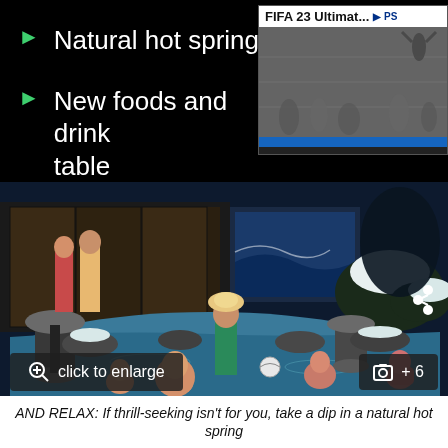Natural hot springs
New foods and drinks for the table
[Figure (screenshot): Video thumbnail for FIFA 23 Ultimate showing a black and white historical crowd scene with a play button overlay and PlayStation badge]
[Figure (screenshot): The Sims 4 gameplay screenshot showing Sims characters relaxing in a natural hot spring pool with Japanese-style garden surroundings, snow, and lanterns. Overlay buttons show 'click to enlarge' and '+6' photo counter, plus a share icon.]
AND RELAX: If thrill-seeking isn't for you, take a dip in a natural hot spring